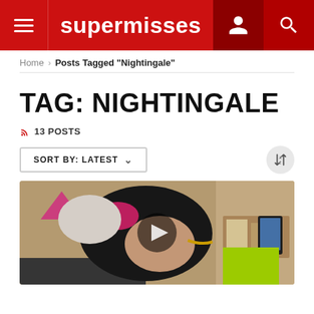supermisses
Home > Posts Tagged "Nightingale"
TAG: NIGHTINGALE
13 POSTS
SORT BY: LATEST
[Figure (photo): A cosplay figure wearing black latex outfit with pink accents and cat ears, posed in a bathroom setting. A video play button overlay is visible in the center.]